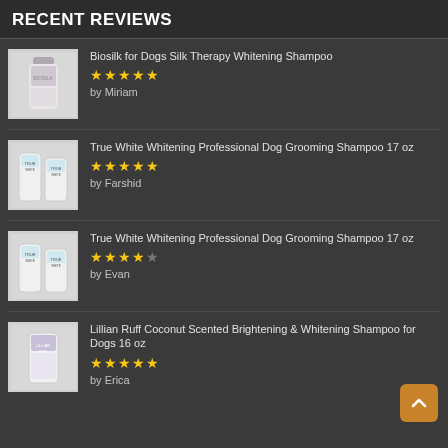RECENT REVIEWS
Biosilk for Dogs Silk Therapy Whitening Shampoo — ★★★★★ — by Miriam
True White Whitening Professional Dog Grooming Shampoo 17 oz — ★★★★★ — by Farshid
True White Whitening Professional Dog Grooming Shampoo 17 oz — ★★★★ — by Evan
Lillian Ruff Coconut Scented Brightening & Whitening Shampoo for Dogs 16 oz — ★★★★★ — by Erica